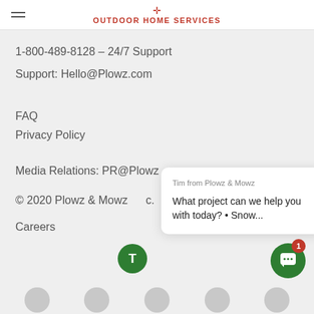OUTDOOR HOME SERVICES
1-800-489-8128 – 24/7 Support
Support: Hello@Plowz.com
FAQ
Privacy Policy
Media Relations: PR@Plowz...
© 2020 Plowz & Mowz...c.
[Figure (screenshot): Chat popup from Tim from Plowz & Mowz: 'What project can we help you with today? • Snow...' with a green T avatar circle]
Careers
[Figure (screenshot): Green chat button with white speech bubble icon and red badge showing '1' notification]